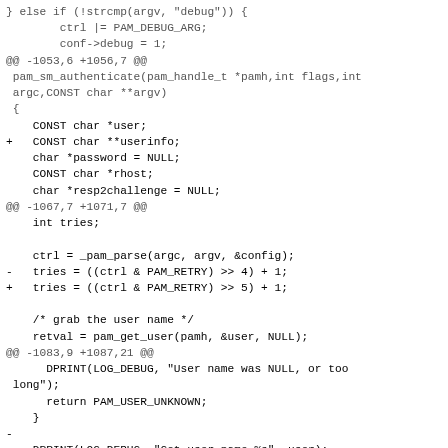Code diff showing changes to pam_sm_authenticate function in a PAM module, including addition of userinfo variable, fix to PAM_RETRY bit shift, and addition of PAM_RUSER_ARG handling.